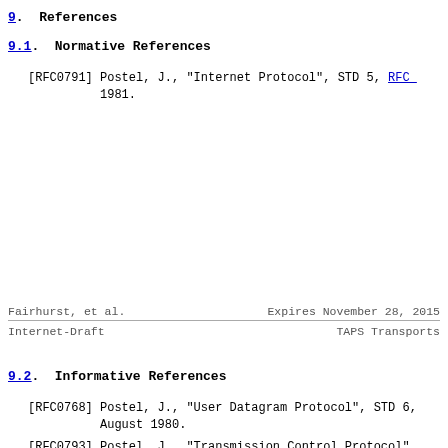9.  References
9.1.  Normative References
[RFC0791]  Postel, J., "Internet Protocol", STD 5, RFC 1981.
Fairhurst, et al.        Expires November 28, 2015
Internet-Draft                      TAPS Transports
9.2.  Informative References
[RFC0768]  Postel, J., "User Datagram Protocol", STD 6, August 1980.
[RFC0793]  Postel, J., "Transmission Control Protocol", 793, September 1981.
[RFC0896]  Nagle, J., "Congestion control in IP/TCP int RFC 896, January 1984.
[RFC1122]  Braden, R., "Requirements for Internet Hosts